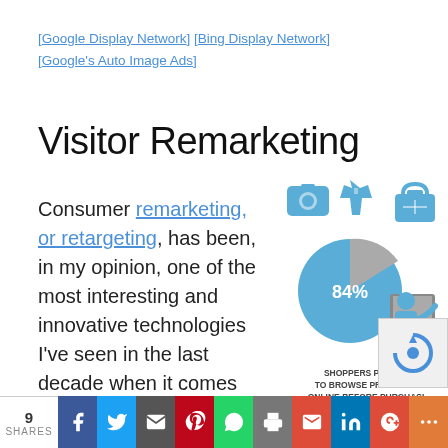[Google Display Network] [Bing Display Network] [Google's Auto Image Ads]
Visitor Remarketing
Consumer remarketing, or retargeting, has been, in my opinion, one of the most interesting and innovative technologies I've seen in the last decade when it comes to targeting users. Re-
[Figure (infographic): Infographic showing shopping icons (camera, jacket, bag) and a pie chart showing 84% with a person browsing at a computer. Caption: SHOPPERS PREFER TO BROWSE PRODUCTS ONLINE BEFORE PURCHASI]
9 SHARES | social share bar: Facebook, Twitter, Email, Pinterest, WhatsApp, Print, Gmail, LinkedIn, Google+, More